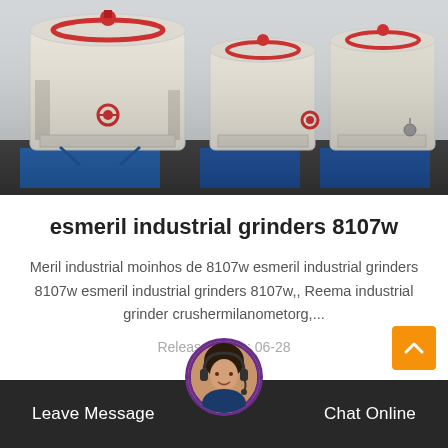[Figure (photo): Industrial grinding machines (esmeril industrial grinders) in a factory setting — large white cylindrical milling machines on blue metal frames, multiple units lined up]
esmeril industrial grinders 8107w
Meril industrial moinhos de 8107w esmeril industrial grinders 8107w esmeril industrial grinders 8107w,, Reema industrial grinder crushermilanometorg,...
Release Time : 06-28
Leave Message  Chat Online